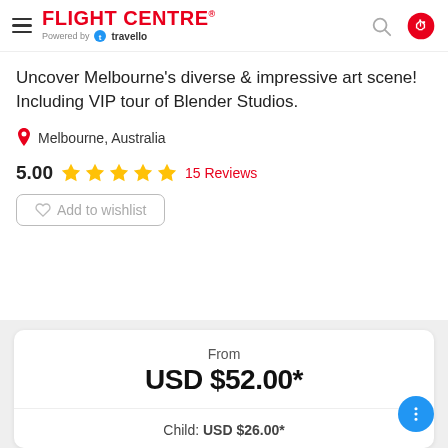FLIGHT CENTRE® Powered by travello
Uncover Melbourne's diverse & impressive art scene! Including VIP tour of Blender Studios.
Melbourne, Australia
5.00  15 Reviews
Add to wishlist
From
USD $52.00*
Child: USD $26.00*